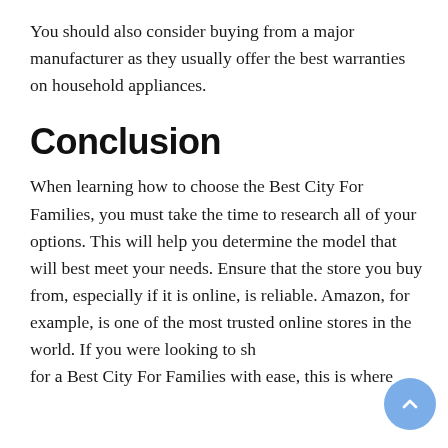You should also consider buying from a major manufacturer as they usually offer the best warranties on household appliances.
Conclusion
When learning how to choose the Best City For Families, you must take the time to research all of your options. This will help you determine the model that will best meet your needs. Ensure that the store you buy from, especially if it is online, is reliable. Amazon, for example, is one of the most trusted online stores in the world. If you were looking to shop for a Best City For Families with ease, this is where